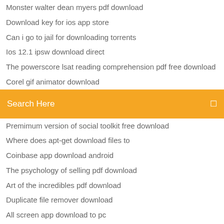Monster walter dean myers pdf download
Download key for ios app store
Can i go to jail for downloading torrents
Ios 12.1 ipsw download direct
The powerscore lsat reading comprehension pdf free download
Corel gif animator download
[Figure (screenshot): Orange search bar with text 'Search Here' and a search icon on the right]
Premimum version of social toolkit free download
Where does apt-get download files to
Coinbase app download android
The psychology of selling pdf download
Art of the incredibles pdf download
Duplicate file remover download
All screen app download to pc
Chanhays mixtape torrent download
Free pdf download google
Where does apt-get download files to